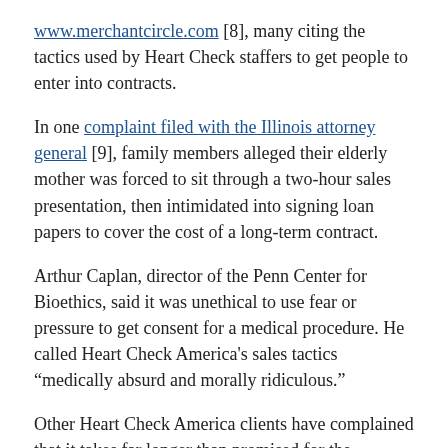www.merchantcircle.com [8], many citing the tactics used by Heart Check staffers to get people to enter into contracts.
In one complaint filed with the Illinois attorney general [9], family members alleged their elderly mother was forced to sit through a two-hour sales presentation, then intimidated into signing loan papers to cover the cost of a long-term contract.
Arthur Caplan, director of the Penn Center for Bioethics, said it was unethical to use fear or pressure to get consent for a medical procedure. He called Heart Check America's sales tactics “medically absurd and morally ridiculous.”
Other Heart Check America clients have complained that it takes far longer than promised for the company to deliver scan results and, in some cases, that the results appeared to be inaccurate.
Last June, Stephanie and Mark Sailo signed up for free heart